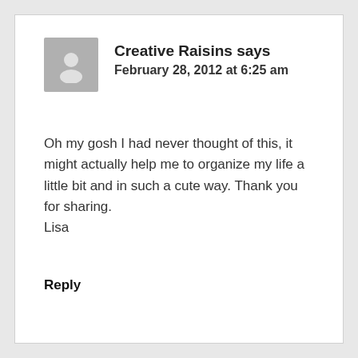[Figure (illustration): Grey avatar silhouette placeholder image]
Creative Raisins says
February 28, 2012 at 6:25 am
Oh my gosh I had never thought of this, it might actually help me to organize my life a little bit and in such a cute way. Thank you for sharing.
Lisa
Reply